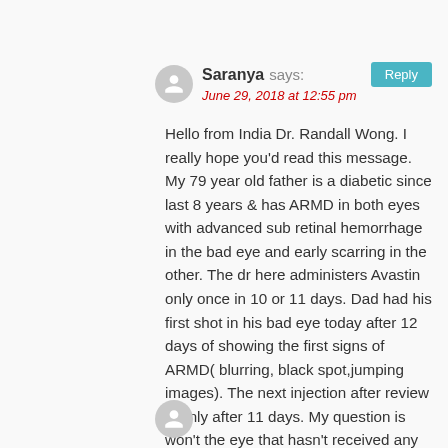Saranya says:
June 29, 2018 at 12:55 pm
Hello from India Dr. Randall Wong. I really hope you'd read this message. My 79 year old father is a diabetic since last 8 years & has ARMD in both eyes with advanced sub retinal hemorrhage in the bad eye and early scarring in the other. The dr here administers Avastin only once in 10 or 11 days. Dad had his first shot in his bad eye today after 12 days of showing the first signs of ARMD( blurring, black spot,jumping images). The next injection after review is only after 11 days. My question is won't the eye that hasn't received any treatment lose more vision if we waited that long? What can I do? Thank you so much for this article Dr. Hope you can help me.